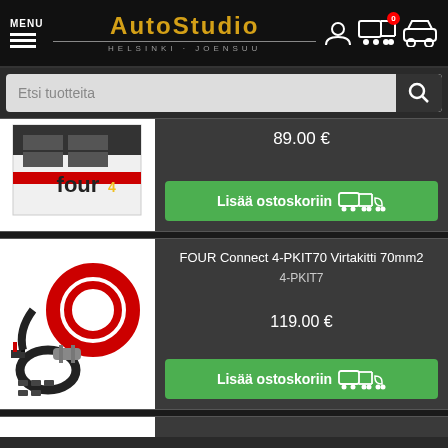[Figure (screenshot): AutoStudio website header with logo, menu, user icon, cart icon]
Etsi tuotteita
89.00 €
Lisää ostoskoriin
FOUR Connect 4-PKIT70 Virtakitti 70mm2
4-PKIT7
119.00 €
Lisää ostoskoriin